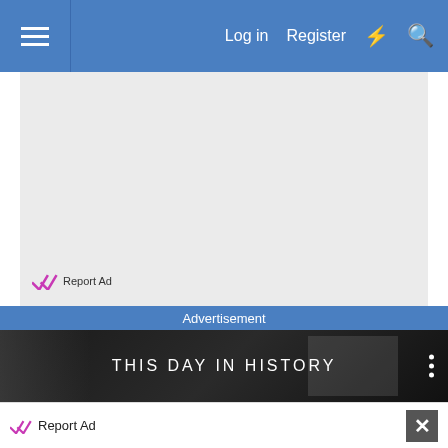Log in  Register
[Figure (other): Gray advertisement placeholder area with Report Ad link at bottom left]
Report Ad
Advertisement
[Figure (other): THIS DAY IN HISTORY dark banner with three-dot menu icon on right]
Report Ad
[Figure (other): Hefty Slider Bags advertisement - Close With Confidence]